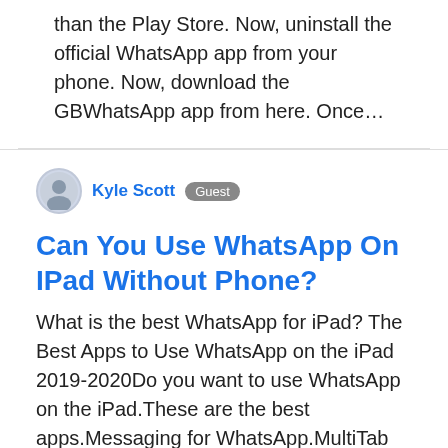than the Play Store. Now, uninstall the official WhatsApp app from your phone. Now, download the GBWhatsApp app from here. Once…
Kyle Scott  Guest
Can You Use WhatsApp On IPad Without Phone?
What is the best WhatsApp for iPad? The Best Apps to Use WhatsApp on the iPad 2019-2020Do you want to use WhatsApp on the iPad.These are the best apps.Messaging for WhatsApp.MultiTab for WhatsApp, ideal if you have multiple accounts.PadChat for WhatsApp Messenger.WhatsApp Messenger, the official way to have WhatsApp on iPad.Jan 26, 2020. Why is there no WhatsApp for